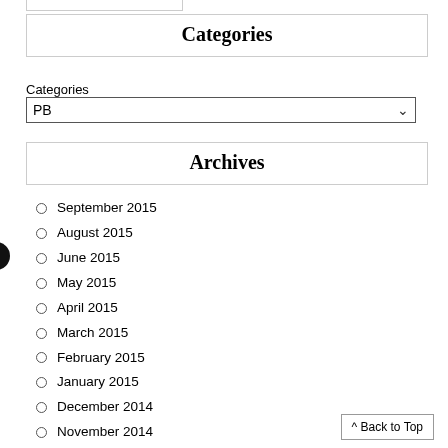Categories
Categories
PB
Archives
September 2015
August 2015
June 2015
May 2015
April 2015
March 2015
February 2015
January 2015
December 2014
November 2014
October 2014
August 2014
July 2014
June 2014
May 2014
April 2014
^ Back to Top